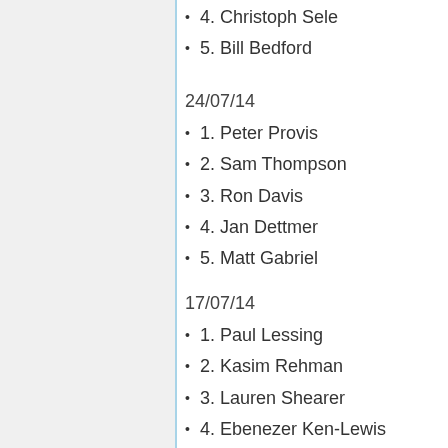4. Christoph Sele
5. Bill Bedford
24/07/14
1. Peter Provis
2. Sam Thompson
3. Ron Davis
4. Jan Dettmer
5. Matt Gabriel
17/07/14
1. Paul Lessing
2. Kasim Rehman
3. Lauren Shearer
4. Ebenezer Ken-Lewis
5. Brad Howarth
09/07/14
1. Adam Bernard
2. Alistair Moncur